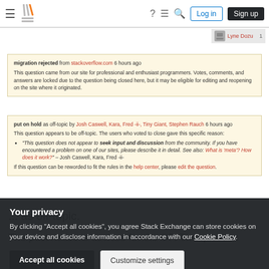Stack Exchange navigation bar with Log in and Sign up buttons
migration rejected from stackoverflow.com 6 hours ago
This question came from our site for professional and enthusiast programmers. Votes, comments, and answers are locked due to the question being closed here, but it may be eligible for editing and reopening on the site where it originated.
put on hold as off-topic by Josh Caswell, Kara, Fred -ii-, Tiny Giant, Stephen Rauch 6 hours ago
This question appears to be off-topic. The users who voted to close gave this specific reason:
"This question does not appear to seek input and discussion from the community. If you have encountered a problem on one of our sites, please describe it in detail. See also: What is 'meta'? How does it work?" – Josh Caswell, Kara, Fred -ii-
If this question can be reworded to fit the rules in the help center, please edit the question.
... as off-topic.
The post notice is useless for the OP. The question
Your privacy
By clicking "Accept all cookies", you agree Stack Exchange can store cookies on your device and disclose information in accordance with our Cookie Policy.
Accept all cookies   Customize settings